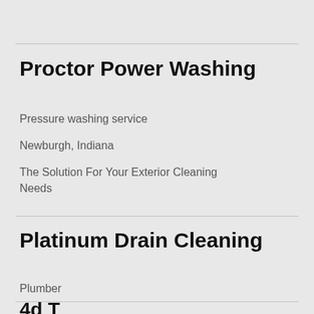Proctor Power Washing
Pressure washing service
Newburgh, Indiana
The Solution For Your Exterior Cleaning Needs
Platinum Drain Cleaning
Plumber
Provo, Utah
Your Provo Drain Cleaning Experts!
4d T...